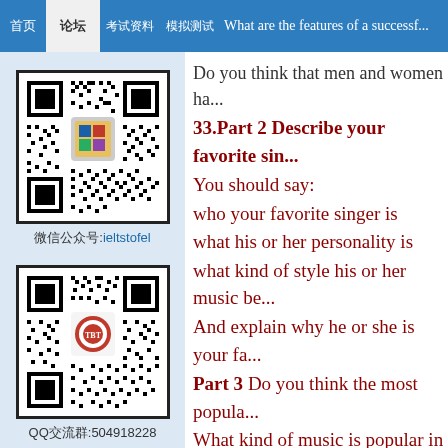首页 | 论坛 | 考试资料 | 模拟测试 | What are the features of a successful...
Do you think that men and women ha...
33.Part 2 Describe your favorite sin...
You should say:
who your favorite singer is
what his or her personality is
what kind of style his or her music be...
And explain why he or she is your fa...
Part 3 Do you think the most popula...
What kind of music is popular in Chi... people like at different ages?
34.Part 2 Describe a perfect job yo... /Describe a job you would like to d...
What it is
How you can get this job
What kinds of work you would do fo...
[Figure (other): QR code with label: 微信公众号:ieltstofel]
[Figure (other): QR code with label: QQ交流群:504918228]